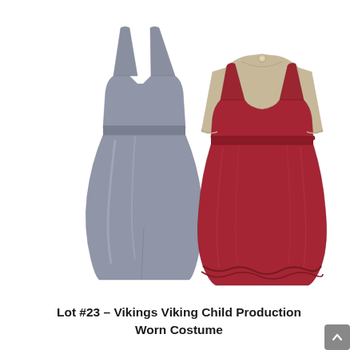[Figure (photo): Two children's Viking costumes displayed against a white background. On the left is a sleeveless grey/silver dress with wide shoulder straps and a gathered skirt. On the right is a red/burgundy sleeveless pinafore dress with gathered skirt and ruffled hem, worn over a long-sleeved beige undershirt with a small decorative brooch at the neckline.]
Lot #23 – Vikings Viking Child Production Worn Costume